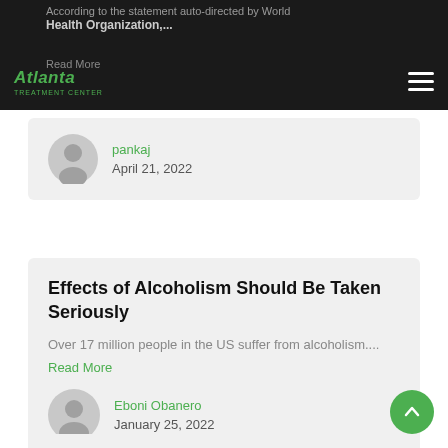Atlanta Treatment Center
According to the statement auto-directed by World Health Organization....
Read More
pankaj
April 21, 2022
Effects of Alcoholism Should Be Taken Seriously
Over 17 million people in the US suffer from alcoholism....
Read More
Eboni Obanero
January 25, 2022